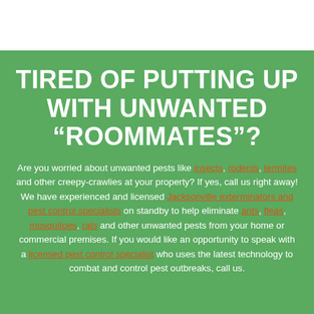TIRED OF PUTTING UP WITH UNWANTED “ROOMMATES”?
Are you worried about unwanted pests like insects, rodents, termites and other creepy-crawlies at your property? If yes, call us right away! We have experienced and licensed Jacksonville exterminators and pest control specialists on standby to help eliminate ants, fleas, mosquitoes, rats and other unwanted pests from your home or commercial premises. If you would like an opportunity to speak with a licensed pest control specialist who uses the latest technology to combat and control pest outbreaks, call us.